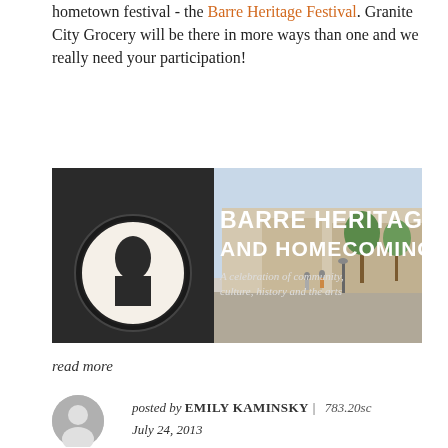hometown festival - the Barre Heritage Festival. Granite City Grocery will be there in more ways than one and we really need your participation!
[Figure (illustration): Barre Heritage Festival and Homecoming Days banner image with logo and street scene. Text reads: 'Barre Heritage Festival And Homecoming Days - A celebration of community, culture, history and the arts']
read more
posted by EMILY KAMINSKY | 783.20sc
July 24, 2013